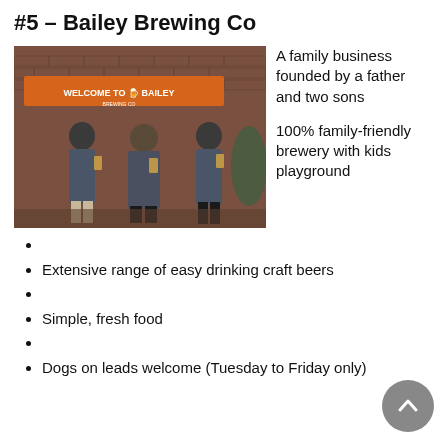#5 – Bailey Brewing Co
[Figure (photo): Three men (father and two sons) standing in front of Bailey Brewing Co entrance with orange 'Welcome to Bailey Brewing Co' banner and brick wall background, each holding a beer glass]
A family business founded by a father and two sons

100% family-friendly brewery with kids playground
Extensive range of easy drinking craft beers
Simple, fresh food
Dogs on leads welcome (Tuesday to Friday only)